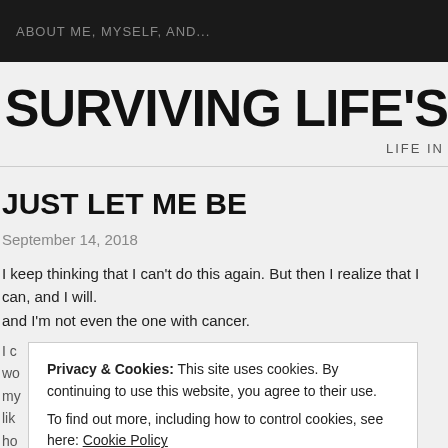ABOUT ME, MYSELF, AND...
SURVIVING LIFE'S
LIFE IN
JUST LET ME BE
September 14, 2018
I keep thinking that I can't do this again. But then I realize that I can, and I will. and I'm not even the one with cancer.
Privacy & Cookies: This site uses cookies. By continuing to use this website, you agree to their use.
To find out more, including how to control cookies, see here: Cookie Policy
Close and accept